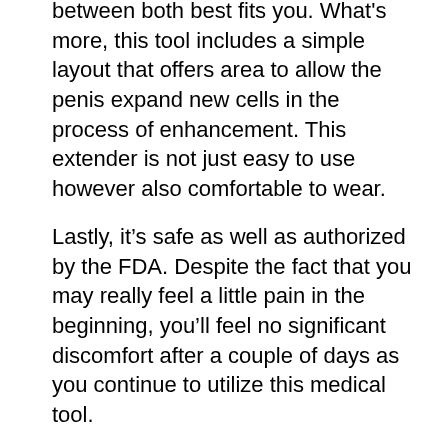between both best fits you. What's more, this tool includes a simple layout that offers area to allow the penis expand new cells in the process of enhancement. This extender is not just easy to use however also comfortable to wear.
Lastly, it's safe as well as authorized by the FDA. Despite the fact that you may really feel a little pain in the beginning, you'll feel no significant discomfort after a couple of days as you continue to utilize this medical tool.
Having a small penis can be such a big humiliation for numerous men. Thankfully, there are a number of methods that can aid expand the dimension of a penis. These